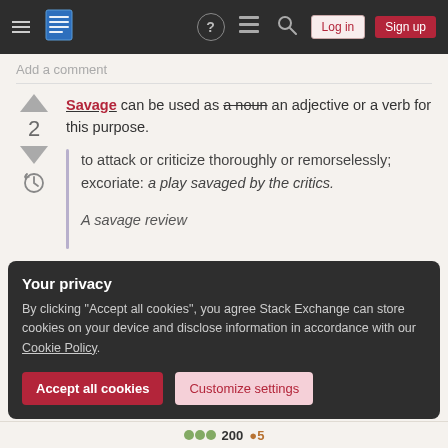Stack Exchange navigation bar with hamburger menu, logo, help, chat, search, Log in, Sign up buttons
Add a comment
Savage can be used as a noun an adjective or a verb for this purpose.
to attack or criticize thoroughly or remorselessly; excoriate: a play savaged by the critics.

A savage review
Your privacy
By clicking "Accept all cookies", you agree Stack Exchange can store cookies on your device and disclose information in accordance with our Cookie Policy.
Accept all cookies   Customize settings
200 ●5